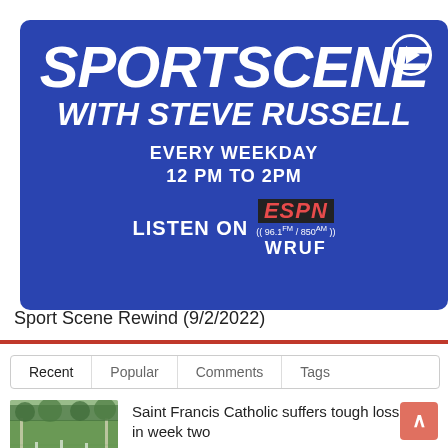[Figure (illustration): Blue banner for 'Sportscene with Steve Russell' radio show on ESPN WRUF, with play button icon. Text reads: SPORTSCENE WITH STEVE RUSSELL, EVERY WEEKDAY 12 PM TO 2PM, LISTEN ON ESPN WRUF (96.1FM / 850AM)]
Sport Scene Rewind (9/2/2022)
Recent | Popular | Comments | Tags
[Figure (photo): Thumbnail photo of a football field with players and trees in background]
Saint Francis Catholic suffers tough loss in week two
September 3, 2022